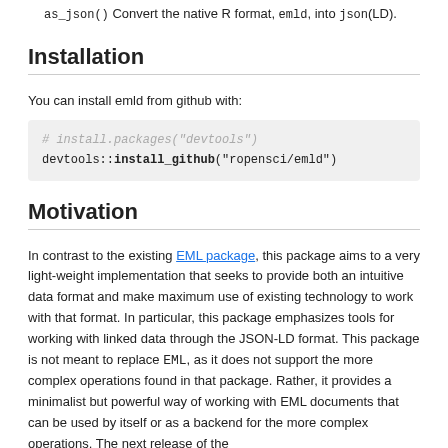as_json() Convert the native R format, emld, into json(LD).
Installation
You can install emld from github with:
# install.packages("devtools")
devtools::install_github("ropensci/emld")
Motivation
In contrast to the existing EML package, this package aims to a very light-weight implementation that seeks to provide both an intuitive data format and make maximum use of existing technology to work with that format. In particular, this package emphasizes tools for working with linked data through the JSON-LD format. This package is not meant to replace EML, as it does not support the more complex operations found in that package. Rather, it provides a minimalist but powerful way of working with EML documents that can be used by itself or as a backend for the more complex operations. The next release of the